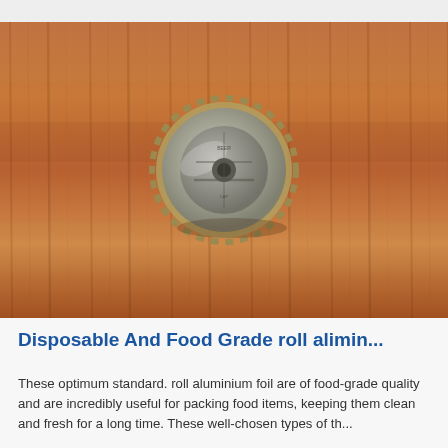[Figure (photo): A metal bottle cap (crown cap) with serrated edges, silver/gold in color, viewed from above, resting on a wooden surface with warm brown tones. A yellow-lit area is visible in the bottom-left corner.]
Disposable And Food Grade roll alimin...
These optimum standard. roll aluminium foil are of food-grade quality and are incredibly useful for packing food items, keeping them clean and fresh for a long time. These well-chosen types of the...